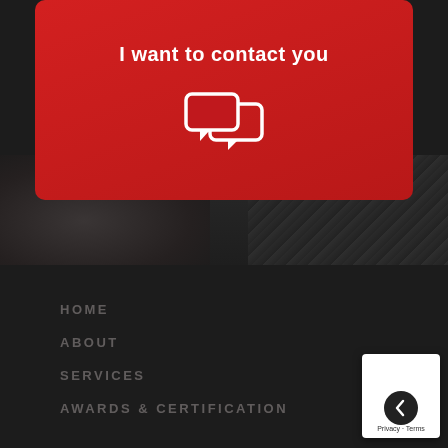[Figure (screenshot): Red card UI element with text 'I want to contact you' and a chat bubble icon, displayed on a dark background website interface with navigation menu items HOME, ABOUT, SERVICES, AWARDS & CERTIFICATION]
I want to contact you
HOME
ABOUT
SERVICES
AWARDS & CERTIFICATION